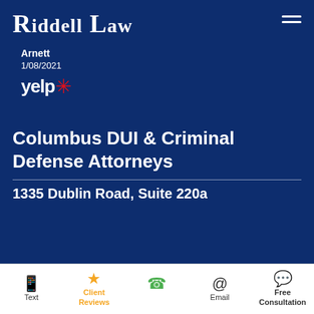Riddell Law
Arnett
1/08/2021
[Figure (logo): Yelp logo with red burst icon]
Columbus DUI & Criminal Defense Attorneys
1335 Dublin Road, Suite 220a
Text | Client Reviews | (phone) | Email | Free Consultation